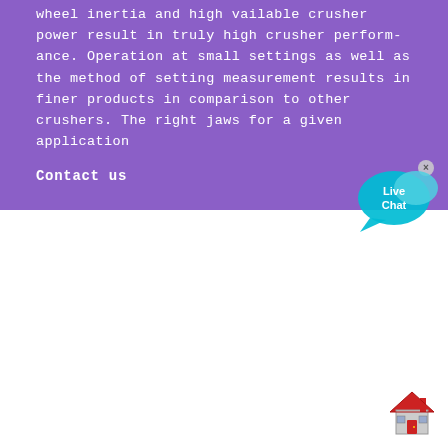wheel inertia and high vailable crusher power result in truly high crusher perform-ance. Operation at small settings as well as the method of setting measurement results in finer products in comparison to other crushers. The right jaws for a given application
Contact us
[Figure (illustration): Live Chat speech bubble icon in cyan/blue color with 'Live Chat' text, with a small 'x' close button in the top right]
[Figure (illustration): Red and grey house/home icon in the bottom right corner]